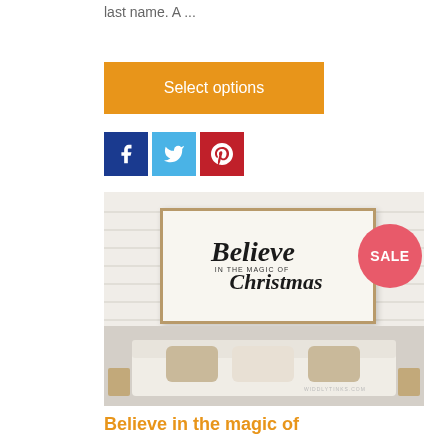last name. A ...
Select options
[Figure (screenshot): Social sharing icons: Facebook (blue), Twitter (light blue), Pinterest (red)]
[Figure (photo): Room scene with a white sofa and a wall sign reading 'Believe in the magic of Christmas' with a Santa Claus illustration, watermark WIDDLYTINKS.COM. A red SALE badge is overlaid on the top right.]
Believe in the magic of